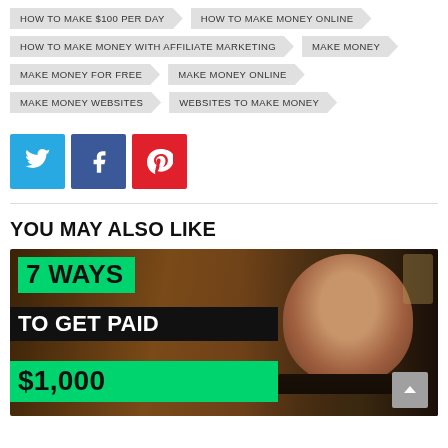HOW TO MAKE $100 PER DAY
HOW TO MAKE MONEY ONLINE
HOW TO MAKE MONEY WITH AFFILIATE MARKETING
MAKE MONEY
MAKE MONEY FOR FREE
MAKE MONEY ONLINE
MAKE MONEY WEBSITES
WEBSITES TO MAKE MONEY
[Figure (infographic): Social share buttons: Twitter (blue), Facebook (dark blue), Pinterest (red)]
YOU MAY ALSO LIKE
[Figure (screenshot): YouTube thumbnail showing '7 WAYS TO GET PAID $1,000' with a person in the background]